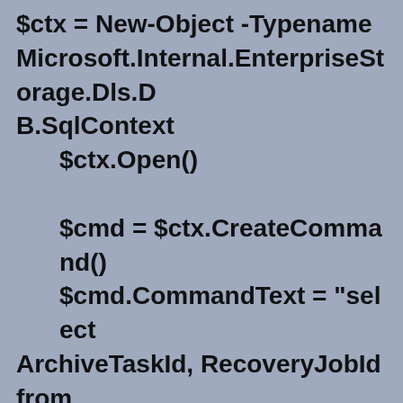$ctx = New-Object -Typename Microsoft.Internal.EnterpriseStorage.Dls.DB.SqlContext
    $ctx.Open()

    $cmd = $ctx.CreateCommand()
    $cmd.CommandText = "select ArchiveTaskId, RecoveryJobId from tbl_RM_ShadowCopy where ShadowCopyId = '$id'"
    write-host $cmd.CommandText
    $reader = $cmd.ExecuteReader()
    while($reader.Read())
    {